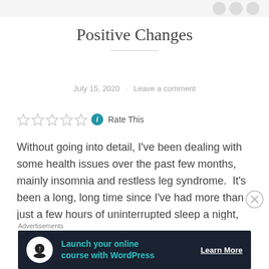Positive Changes
July 15, 2020 · Leave a comment
Rate This
Without going into detail, I've been dealing with some health issues over the past few months, mainly insomnia and restless leg syndrome.  It's been a long, long time since I've had more than just a few hours of uninterrupted sleep a night, but I'm working on some positive lifestyle changes that seem to be helping.
Advertisements
[Figure (other): Advertisement banner: Launch your online course with WordPress — Learn More]